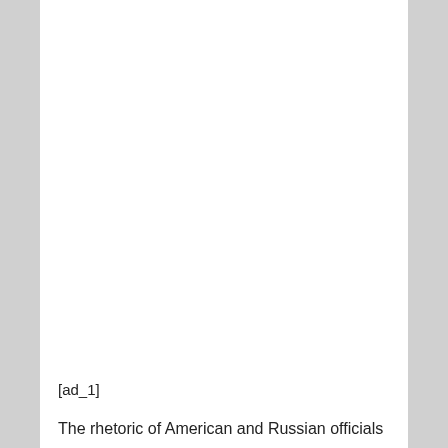[ad_1]
The rhetoric of American and Russian officials